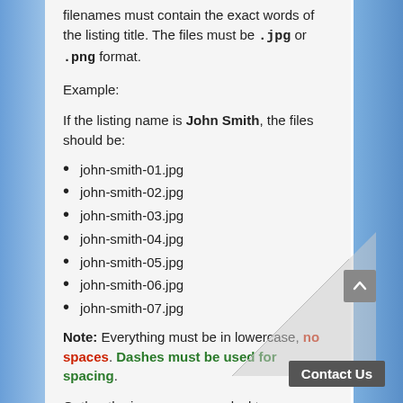filenames must contain the exact words of the listing title. The files must be .jpg or .png format.
Example:
If the listing name is John Smith, the files should be:
john-smith-01.jpg
john-smith-02.jpg
john-smith-03.jpg
john-smith-04.jpg
john-smith-05.jpg
john-smith-06.jpg
john-smith-07.jpg
Note: Everything must be in lowercase, no spaces. Dashes must be used for spacing.
Gather the images on your desktop,